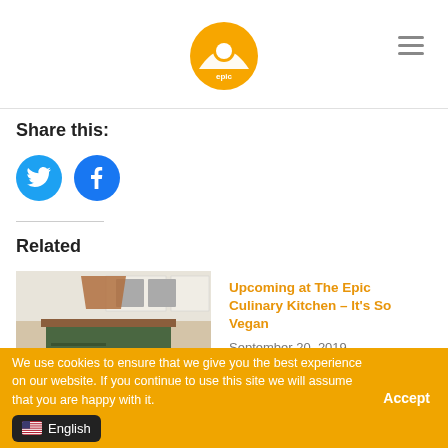[Figure (logo): The Epic Culinary logo — orange/yellow semicircle sun icon with 'epic' text]
Share this:
[Figure (infographic): Twitter and Facebook social share icon buttons as blue circles]
Related
[Figure (photo): Kitchen interior photo with island and appliances]
Stories from the Kitchen by The Epic Culinary Chef
Upcoming at The Epic Culinary Kitchen – It's So Vegan
September 20, 2019
In "Epic Extras"
We use cookies to ensure that we give you the best experience on our website. If you continue to use this site we will assume that you are happy with it.
Accept